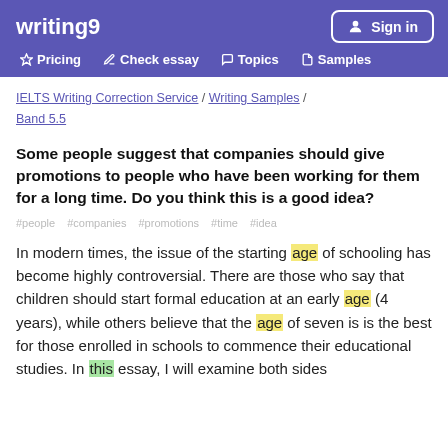writing9 | Sign in | Pricing | Check essay | Topics | Samples
IELTS Writing Correction Service / Writing Samples / Band 5.5
Some people suggest that companies should give promotions to people who have been working for them for a long time. Do you think this is a good idea?
#people #companies #promotions #time #idea
In modern times, the issue of the starting age of schooling has become highly controversial. There are those who say that children should start formal education at an early age (4 years), while others believe that the age of seven is is the best for those enrolled in schools to commence their educational studies. In this essay, I will examine both sides